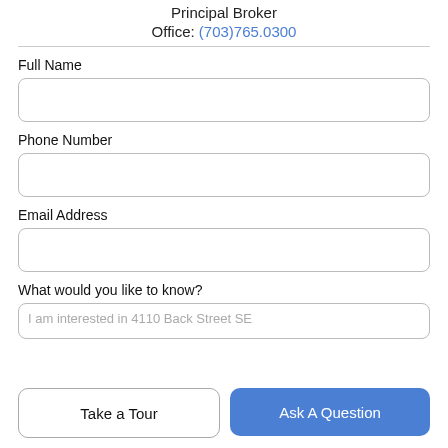Principal Broker
Office: (703)765.0300
Full Name
Phone Number
Email Address
What would you like to know?
I am interested in 4110 Back Street SE
Take a Tour
Ask A Question